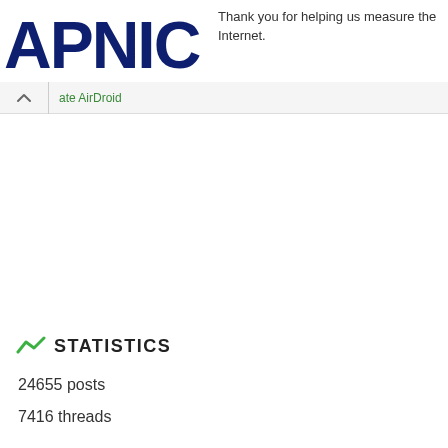[Figure (logo): APNIC logo in dark navy blue bold text]
Thank you for helping us measure the Internet.
ate AirDroid
STATISTICS
24655 posts
7416 threads